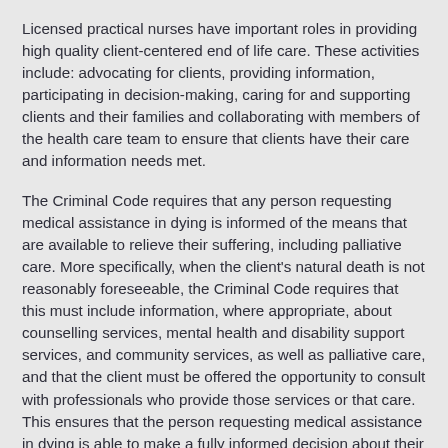Licensed practical nurses have important roles in providing high quality client-centered end of life care. These activities include: advocating for clients, providing information, participating in decision-making, caring for and supporting clients and their families and collaborating with members of the health care team to ensure that clients have their care and information needs met.
The Criminal Code requires that any person requesting medical assistance in dying is informed of the means that are available to relieve their suffering, including palliative care. More specifically, when the client's natural death is not reasonably foreseeable, the Criminal Code requires that this must include information, where appropriate, about counselling services, mental health and disability support services, and community services, as well as palliative care, and that the client must be offered the opportunity to consult with professionals who provide those services or that care. This ensures that the person requesting medical assistance in dying is able to make a fully informed decision about their health care options for end of life care and palliation.